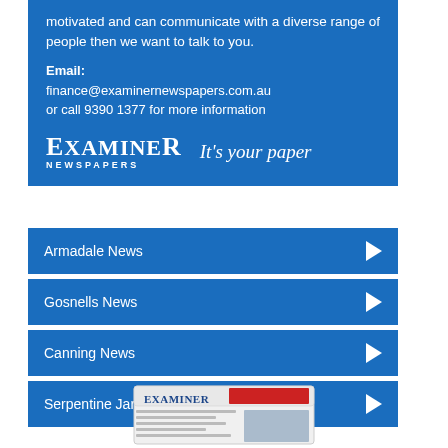motivated and can communicate with a diverse range of people then we want to talk to you.
Email: finance@examinernewspapers.com.au or call 9390 1377 for more information
[Figure (logo): Examiner Newspapers logo with tagline 'It's your paper']
Armadale News
Gosnells News
Canning News
Serpentine Jarrahdale News
[Figure (photo): Examiner Newspapers printed newspaper photo]